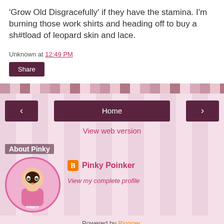'Grow Old Disgracefully' if they have the stamina. I'm burning those work shirts and heading off to buy a sh#tload of leopard skin and lace.
Unknown at 12:49 PM
Share
Home
View web version
About Pinky
Pinky Poinker
View my complete profile
Powered by Blogger.